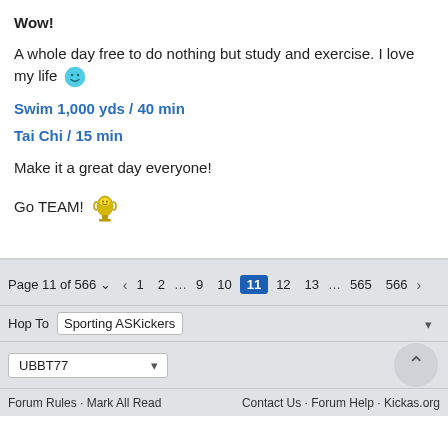Wow!
A whole day free to do nothing but study and exercise. I love my life 🙂
Swim 1,000 yds / 40 min
Tai Chi / 15 min
Make it a great day everyone!
Go TEAM! 🏆
Page 11 of 566  ‹  1  2  …  9  10  11  12  13  …  565  566  ›
Hop To  Sporting ASKickers
UBBT77
Forum Rules · Mark All Read    Contact Us · Forum Help · Kickas.org